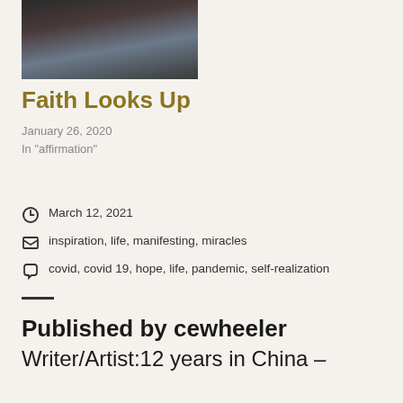[Figure (photo): Partial view of a historical or artistic portrait photograph, cropped at top]
Faith Looks Up
January 26, 2020
In "affirmation"
March 12, 2021
inspiration, life, manifesting, miracles
covid, covid 19, hope, life, pandemic, self-realization
Published by cewheeler
Writer/Artist:12 years in China –